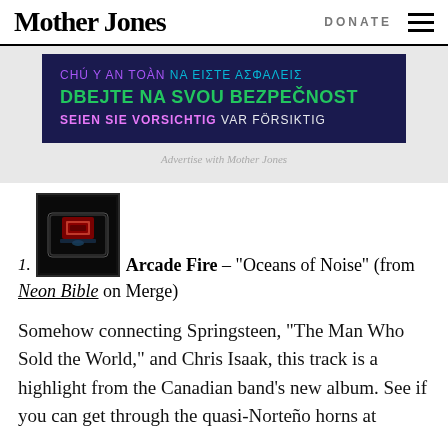Mother Jones | DONATE [menu]
[Figure (screenshot): Advertisement banner with multilingual safety messages on dark navy background]
Advertise with Mother Jones
1. Arcade Fire – "Oceans of Noise" (from Neon Bible on Merge)
Somehow connecting Springsteen, "The Man Who Sold the World," and Chris Isaak, this track is a highlight from the Canadian band's new album. See if you can get through the quasi-Norteño horns at